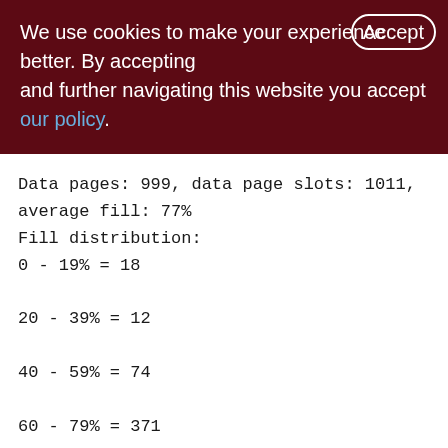We use cookies to make your experience better. By accepting and further navigating this website you accept our policy.
Data pages: 999, data page slots: 1011, average fill: 77%
Fill distribution:
0 - 19% = 18
20 - 39% = 12
40 - 59% = 74
60 - 79% = 371
80 - 99% = 524
Index INVNT_TURNOVER_LOG_WARE_DD_ID (0:
Depth: 2, leaf buckets: 175, nodes: 60995
Average data length: 8.61, total dup: 6071,